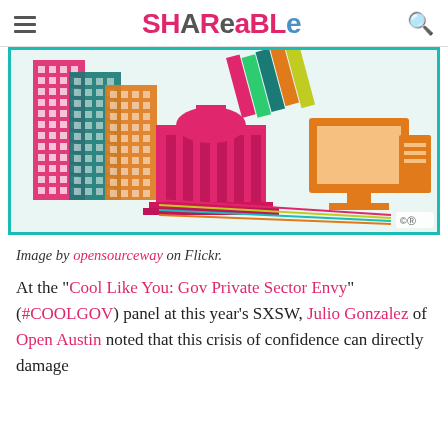Shareable
[Figure (illustration): Colorful open-government themed illustration showing a city hall building, stacked books, a desktop computer, and grid-patterned building blocks connected by colored lines, with a Creative Commons license badge in the bottom right corner.]
Image by opensourceway on Flickr.
At the "Cool Like You: Gov Private Sector Envy" (#COOLGOV) panel at this year's SXSW, Julio Gonzalez of Open Austin noted that this crisis of confidence can directly damage